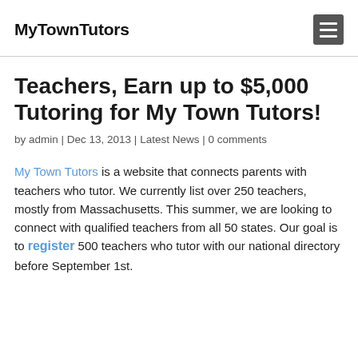MyTownTutors
Teachers, Earn up to $5,000 Tutoring for My Town Tutors!
by admin | Dec 13, 2013 | Latest News | 0 comments
My Town Tutors is a website that connects parents with teachers who tutor. We currently list over 250 teachers, mostly from Massachusetts. This summer, we are looking to connect with qualified teachers from all 50 states. Our goal is to register 500 teachers who tutor with our national directory before September 1st.